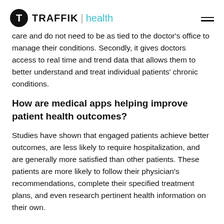TRAFFIK health
care and do not need to be as tied to the doctor's office to manage their conditions. Secondly, it gives doctors access to real time and trend data that allows them to better understand and treat individual patients' chronic conditions.
How are medical apps helping improve patient health outcomes?
Studies have shown that engaged patients achieve better outcomes, are less likely to require hospitalization, and are generally more satisfied than other patients. These patients are more likely to follow their physician's recommendations, complete their specified treatment plans, and even research pertinent health information on their own.